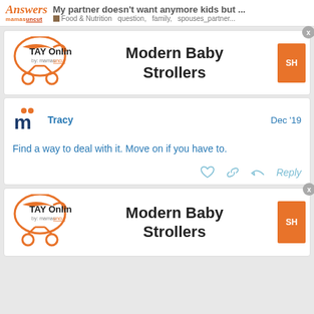My partner doesn't want anymore kids but ... Food & Nutrition question, family, spouses_partner...
[Figure (logo): TAY Online by mamas logo with stroller icon - advertisement for Modern Baby Strollers]
Modern Baby Strollers
Tracy Dec '19
Find a way to deal with it. Move on if you have to.
[Figure (logo): TAY Online by mamas logo with stroller icon - second advertisement for Modern Baby Strollers (partial)]
Modern Baby Strollers